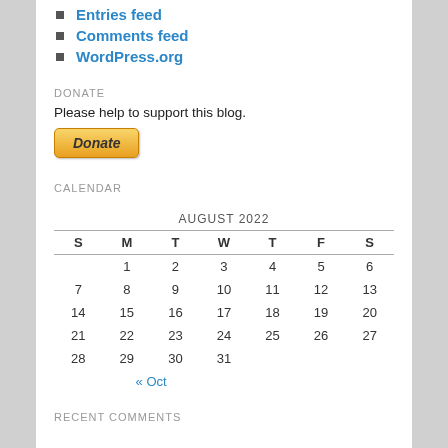Entries feed
Comments feed
WordPress.org
DONATE
Please help to support this blog.
[Figure (other): PayPal Donate button]
CALENDAR
| S | M | T | W | T | F | S |
| --- | --- | --- | --- | --- | --- | --- |
|  | 1 | 2 | 3 | 4 | 5 | 6 |
| 7 | 8 | 9 | 10 | 11 | 12 | 13 |
| 14 | 15 | 16 | 17 | 18 | 19 | 20 |
| 21 | 22 | 23 | 24 | 25 | 26 | 27 |
| 28 | 29 | 30 | 31 |  |  |  |
RECENT COMMENTS